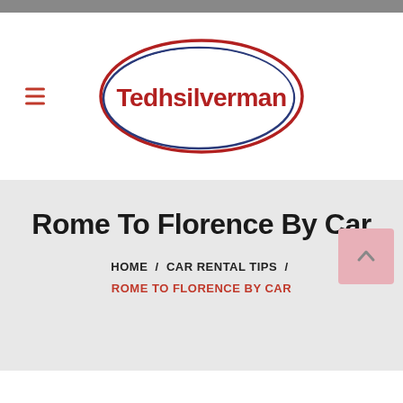[Figure (logo): Tedhsilverman oval logo with red and blue double ellipse border and red bold text 'Tedhsilverman' inside]
Rome To Florence By Car
HOME / CAR RENTAL TIPS / ROME TO FLORENCE BY CAR